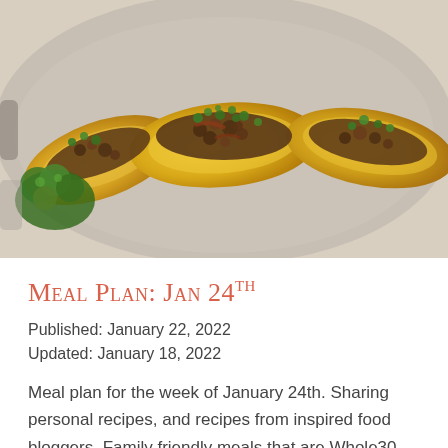[Figure (photo): Overhead photo of stuffed delicata squash halves filled with ground meat, bacon, and fresh herbs (parsley), served in a white baking dish]
Meal Plan: Jan 24th
Published: January 22, 2022
Updated: January 18, 2022
Meal plan for the week of January 24th. Sharing personal recipes, and recipes from inspired food bloggers. Family friendly meals that are Whole30 compliant and/or paleo friendly, and plenty for